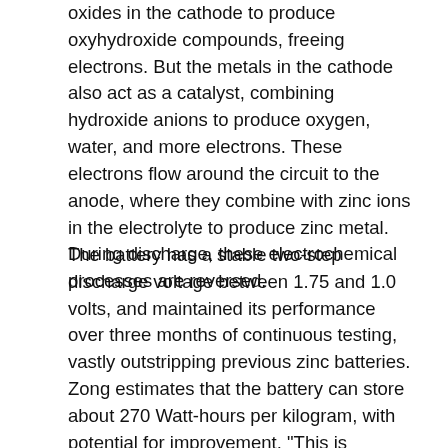oxides in the cathode to produce oxyhydroxide compounds, freeing electrons. But the metals in the cathode also act as a catalyst, combining hydroxide anions to produce oxygen, water, and more electrons. These electrons flow around the circuit to the anode, where they combine with zinc ions in the electrolyte to produce zinc metal. During discharge, these electrochemical processes are reversed.
The battery has a stable two-step discharge voltage between 1.75 and 1.0 volts, and maintained its performance over three months of continuous testing, vastly outstripping previous zinc batteries. Zong estimates that the battery can store about 270 Watt-hours per kilogram, with potential for improvement. "This is already on a par with lithium-ion batteries available on the market," he says.